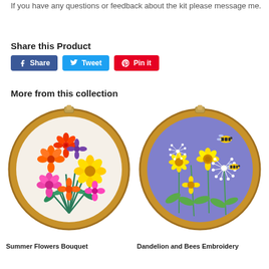If you have any questions or feedback about the kit please message me.
Share this Product
Share  Tweet  Pin it
More from this collection
[Figure (photo): Embroidery hoop with colorful summer flowers bouquet on white fabric]
[Figure (photo): Embroidery hoop with dandelions and bees on purple/lavender fabric]
Summer Flowers Bouquet
Dandelion and Bees Embroidery